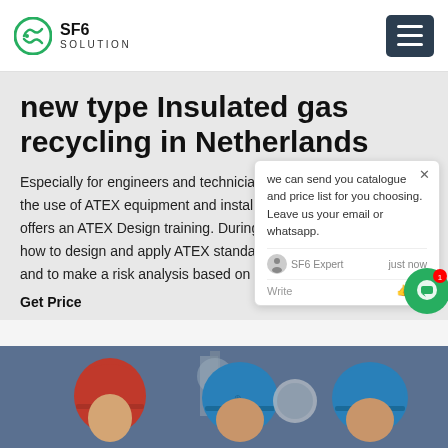SF6 SOLUTION
new type Insulated gas recycling in Netherlands
Especially for engineers and technicians who are responsible for the use of ATEX equipment and installations, ATEXcertificaat.nl offers an ATEX Design training. During this training you will learn how to design and apply ATEX standards when creating a design and to make a risk analysis based on this. Show.
Get Price
[Figure (screenshot): Chat popup with message: we can send you catalogue and price list for you choosing. Leave us your email or whatsapp. SF6 Expert just now.]
[Figure (photo): Workers wearing blue hard hats at industrial site with pipes and equipment in background.]